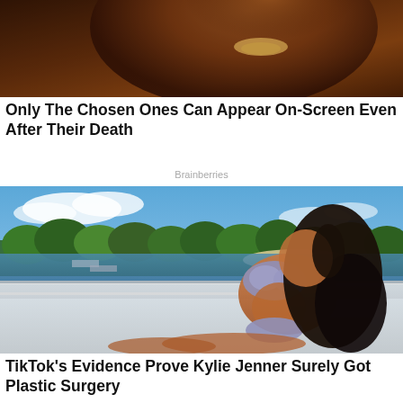[Figure (photo): Close-up cropped photo of a person's face with warm orange/brown tones, partially visible at the top of the page]
Only The Chosen Ones Can Appear On-Screen Even After Their Death
Brainberries
[Figure (photo): Woman in a silver bikini lounging on a boat deck with blue sky, water, and trees in the background]
TikTok's Evidence Prove Kylie Jenner Surely Got Plastic Surgery